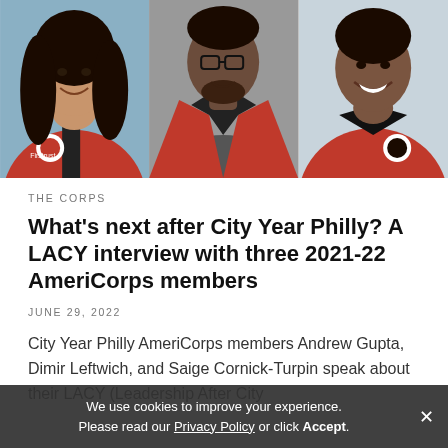[Figure (photo): Three headshot photos side by side of City Year AmeriCorps members wearing red jackets. Left: Andrew Gupta, center: Dimir Leftwich, right: Saige Cornick-Turpin.]
THE CORPS
What's next after City Year Philly? A LACY interview with three 2021-22 AmeriCorps members
JUNE 29, 2022
City Year Philly AmeriCorps members Andrew Gupta, Dimir Leftwich, and Saige Cornick-Turpin speak about their LACY (Leadership After City
We use cookies to improve your experience. Please read our Privacy Policy or click Accept.